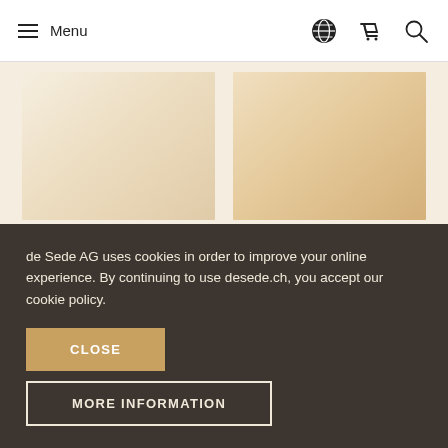Menu
[Figure (photo): Offwhite leather/fabric color swatch]
offwhite
[Figure (photo): Sand leather/fabric color swatch]
sand
[Figure (photo): Light cream color swatch (partially visible)]
[Figure (photo): Taupe/brown color swatch (partially visible)]
de Sede AG uses cookies in order to improve your online experience. By continuing to use desede.ch, you accept our cookie policy.
CLOSE
MORE INFORMATION